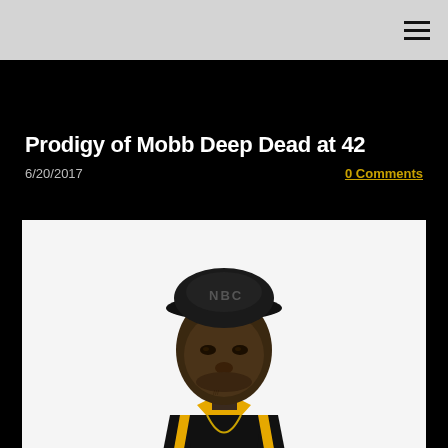Prodigy of Mobb Deep Dead at 42
6/20/2017
0 Comments
[Figure (photo): Portrait photo of Prodigy (rapper from Mobb Deep) wearing a black cap with letters, a black and yellow track jacket, and a gold chain necklace, against a white background.]